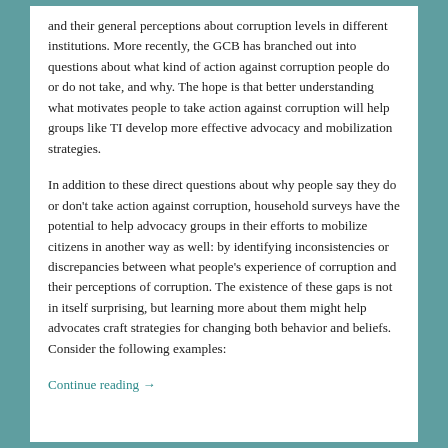and their general perceptions about corruption levels in different institutions. More recently, the GCB has branched out into questions about what kind of action against corruption people do or do not take, and why. The hope is that better understanding what motivates people to take action against corruption will help groups like TI develop more effective advocacy and mobilization strategies.
In addition to these direct questions about why people say they do or don't take action against corruption, household surveys have the potential to help advocacy groups in their efforts to mobilize citizens in another way as well: by identifying inconsistencies or discrepancies between what people's experience of corruption and their perceptions of corruption. The existence of these gaps is not in itself surprising, but learning more about them might help advocates craft strategies for changing both behavior and beliefs. Consider the following examples:
Continue reading →